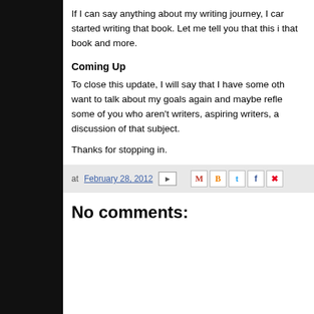If I can say anything about my writing journey, I can started writing that book. Let me tell you that this i that book and more.
Coming Up
To close this update, I will say that I have some oth want to talk about my goals again and maybe refle some of you who aren't writers, aspiring writers, a discussion of that subject.
Thanks for stopping in.
at February 28, 2012
No comments: